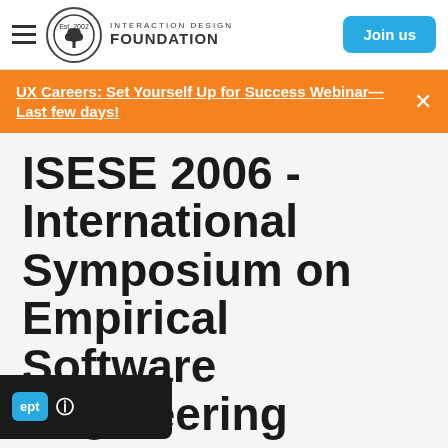[Figure (logo): Interaction Design Foundation logo with hamburger menu and Join us button in navigation bar]
UX Careers: Set Yourself Up for Success Webinar—Last few days!
ISESE 2006 - International Symposium on Empirical Software Engineering
Publisher
ACM Press
Website